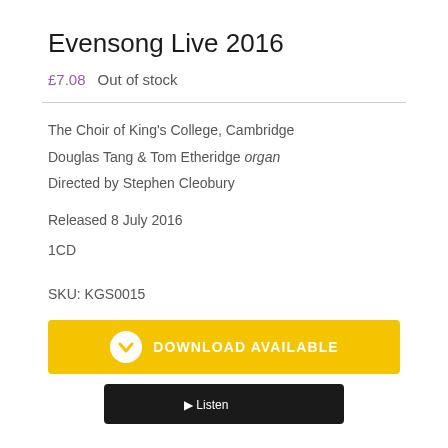Evensong Live 2016
£7.08  Out of stock
The Choir of King's College, Cambridge
Douglas Tang & Tom Etheridge organ
Directed by Stephen Cleobury
Released 8 July 2016
1CD
SKU: KGS0015
[Figure (other): Yellow download available button with download icon circle]
[Figure (other): Black listen/play button partially visible at bottom]